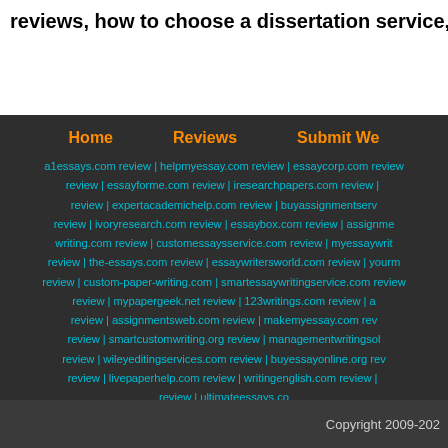reviews, how to choose a dissertation service, finding a caree…
Home | Reviews | Submit We…
a1essays.com review | helpmyessay.com review | essaycorp.com review | review | essayforme.com review | iresearchpapers.com review | review | expertacademichelp.com review | buyassignmentserv… | review | ivoryresearch.com review | essaybox.com review | assignme… | writing.com review | customessaysservice.com review | myessaywrit… | review | the-essays.com review | essaywritersworld.com review | yourm… | review | custom-paper-writing.com | smartessaywritingservice.com review… | review | mypapergeek.net review | 123writings.com review | a… | review | assignmentsweb.com review | makemyessay.com rev… | review | smartcustomwriting.org review | managementwritingsol… | review | wileyeditingservices.com review | buyessayonline.org rev… | review | livepaperhelp.com review | writingenglish.com review | … | review | ultimateessays.co…
Copyright 2009-202…